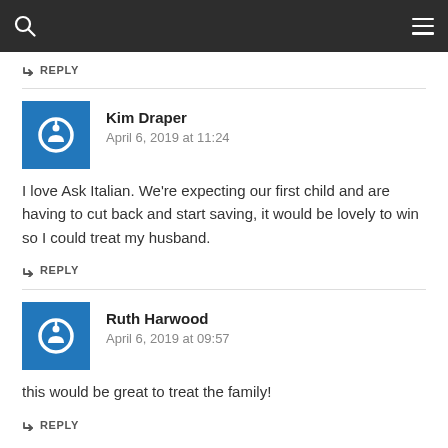↳ REPLY
Kim Draper
April 6, 2019 at 11:24
I love Ask Italian. We're expecting our first child and are having to cut back and start saving, it would be lovely to win so I could treat my husband.
↳ REPLY
Ruth Harwood
April 6, 2019 at 09:57
this would be great to treat the family!
↳ REPLY